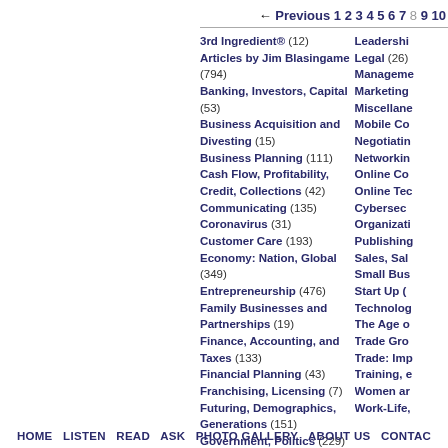← Previous 1 2 3 4 5 6 7 8 9 10
3rd Ingredient® (12)
Articles by Jim Blasingame (794)
Banking, Investors, Capital (53)
Business Acquisition and Divesting (15)
Business Planning (111)
Cash Flow, Profitability, Credit, Collections (42)
Communicating (135)
Coronavirus (31)
Customer Care (193)
Economy: Nation, Global (349)
Entrepreneurship (476)
Family Businesses and Partnerships (19)
Finance, Accounting, and Taxes (133)
Financial Planning (43)
Franchising, Licensing (7)
Futuring, Demographics, Generations (151)
Government, Politics (229)
Home-Based, Teleworking (132)
Human Resources, Healthcare, Benefits (177)
Immigration (3)
Innovation, Creativity (63)
Intellectual Property (7)
Journalists (5)
Leadership
Legal (26)
Management
Marketing
Miscellane
Mobile Co
Negotiatin
Networkin
Online Co
Online Tec
Cybersec
Organizati
Publishing
Sales, Sal
Small Bus
Start Up (
Technolog
The Age o
Trade Gro
Trade: Imp
Training, e
Women ar
Work-Life,
HOME  LISTEN  READ  ASK  PHOTO GALLERY  ABOUT US  CONTAC